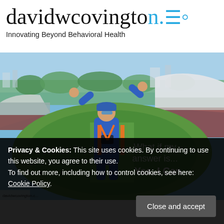davidwcovington.c — Innovating Beyond Behavioral Health
[Figure (photo): Person in blue jumpsuit with arms raised overhead standing on elevated platform overlooking a cricket/sports stadium from aerial view. Text overlay reads 'What if my answer is... Yes, I Can']
Privacy & Cookies: This site uses cookies. By continuing to use this website, you agree to their use. To find out more, including how to control cookies, see here: Cookie Policy
Close and accept